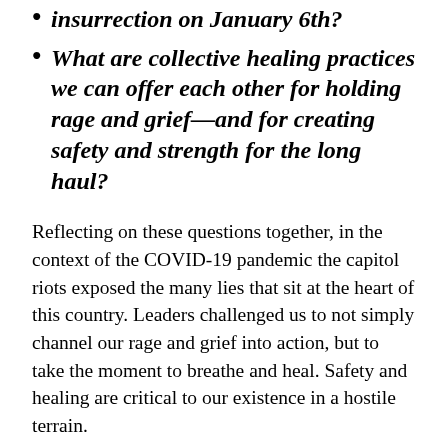insurrection on January 6th?
What are collective healing practices we can offer each other for holding rage and grief—and for creating safety and strength for the long haul?
Reflecting on these questions together, in the context of the COVID-19 pandemic the capitol riots exposed the many lies that sit at the heart of this country. Leaders challenged us to not simply channel our rage and grief into action, but to take the moment to breathe and heal. Safety and healing are critical to our existence in a hostile terrain.
This week marks the halfway point through the